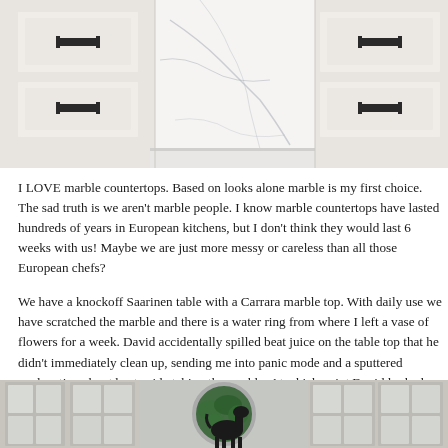[Figure (photo): Kitchen with white cabinets, black hardware drawer pulls, and white marble countertop/backsplash in the center panel]
I LOVE marble countertops. Based on looks alone marble is my first choice. The sad truth is we aren't marble people. I know marble countertops have lasted hundreds of years in European kitchens, but I don't think they would last 6 weeks with us! Maybe we are just more messy or careless than all those European chefs?
We have a knockoff Saarinen table with a Carrara marble top. With daily use we have scratched the marble and there is a water ring from where I left a vase of flowers for a week. David accidentally spilled beat juice on the table top that he didn't immediately clean up, sending me into panic mode and a sputtered explanation about beet acid etching the marble. At which point David looked me straight in the eye and said, "There is no way we can have marble countertops in our kitchen! We are not those type of people." I'm sure he means careful, non-beat juice spilling type of people.
[Figure (photo): Interior room with white French doors/windows, a circular window with green foliage visible outside, and a black horse figurine silhouette in the foreground]